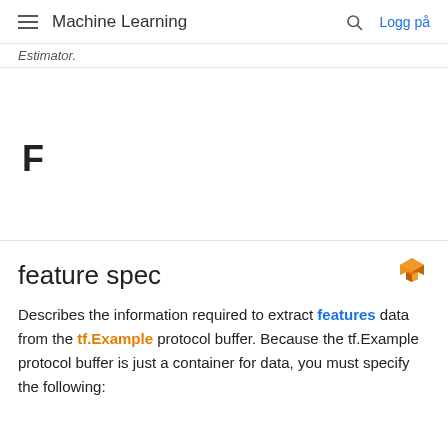Machine Learning — Logg på
Estimator.
F
feature spec
Describes the information required to extract features data from the tf.Example protocol buffer. Because the tf.Example protocol buffer is just a container for data, you must specify the following: